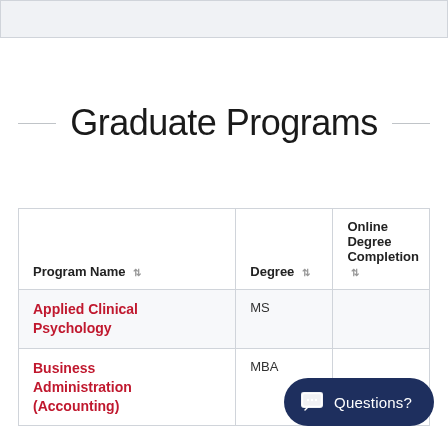Graduate Programs
| Program Name | Degree | Online Degree Completion |
| --- | --- | --- |
| Applied Clinical Psychology | MS |  |
| Business Administration (Accounting) | MBA |  |